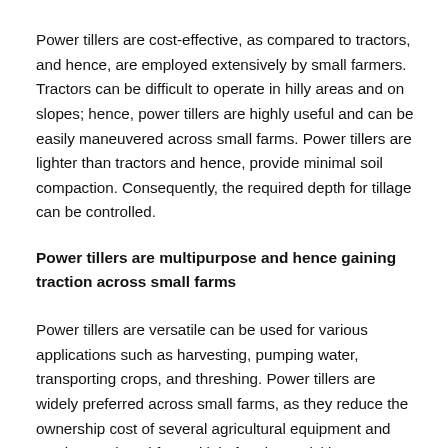Power tillers are cost-effective, as compared to tractors, and hence, are employed extensively by small farmers. Tractors can be difficult to operate in hilly areas and on slopes; hence, power tillers are highly useful and can be easily maneuvered across small farms. Power tillers are lighter than tractors and hence, provide minimal soil compaction. Consequently, the required depth for tillage can be controlled.
Power tillers are multipurpose and hence gaining traction across small farms
Power tillers are versatile can be used for various applications such as harvesting, pumping water, transporting crops, and threshing. Power tillers are widely preferred across small farms, as they reduce the ownership cost of several agricultural equipment and can be employed for multiple farming activities.